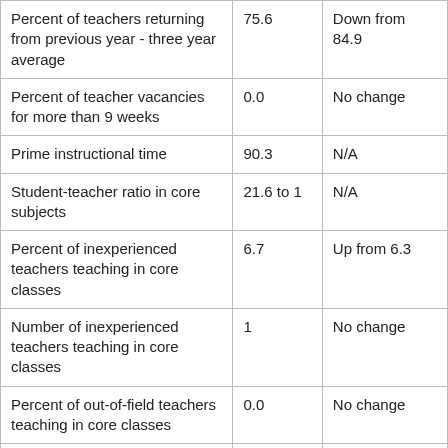| Percent of teachers returning from previous year - three year average | 75.6 | Down from 84.9 |
| Percent of teacher vacancies for more than 9 weeks | 0.0 | No change |
| Prime instructional time | 90.3 | N/A |
| Student-teacher ratio in core subjects | 21.6 to 1 | N/A |
| Percent of inexperienced teachers teaching in core classes | 6.7 | Up from 6.3 |
| Number of inexperienced teachers teaching in core classes | 1 | No change |
| Percent of out-of-field teachers teaching in core classes | 0.0 | No change |
| Number of out-of-field | 0 | No change |